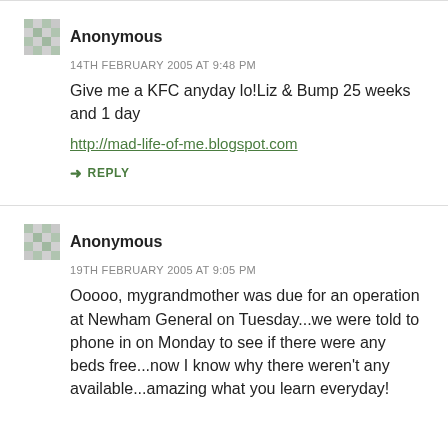Anonymous
14TH FEBRUARY 2005 AT 9:48 PM
Give me a KFC anyday lo!Liz & Bump 25 weeks and 1 day
http://mad-life-of-me.blogspot.com
REPLY
Anonymous
19TH FEBRUARY 2005 AT 9:05 PM
Ooooo, mygrandmother was due for an operation at Newham General on Tuesday...we were told to phone in on Monday to see if there were any beds free...now I know why there weren't any available...amazing what you learn everyday!